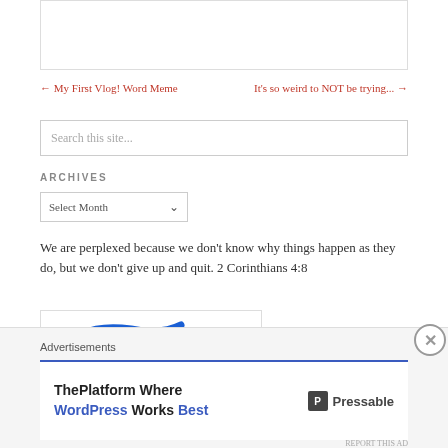← My First Vlog! Word Meme
It's so weird to NOT be trying... →
Search this site...
ARCHIVES
Select Month
We are perplexed because we don't know why things happen as they do, but we don't give up and quit. 2 Corinthians 4:8
[Figure (logo): Hypnobabies logo with blue swoosh]
Advertisements
ThePlatform Where WordPress Works Best  Pressable